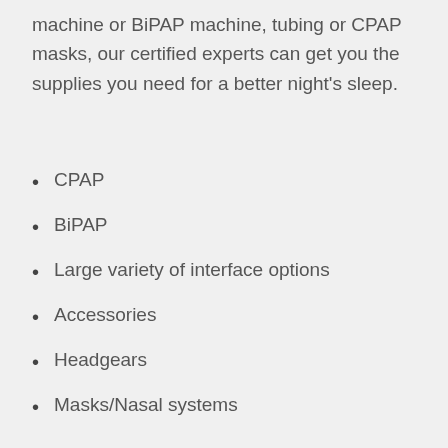machine or BiPAP machine, tubing or CPAP masks, our certified experts can get you the supplies you need for a better night's sleep.
CPAP
BiPAP
Large variety of interface options
Accessories
Headgears
Masks/Nasal systems
Mobility
Manual wheelchairs
Custom power wheelchairs